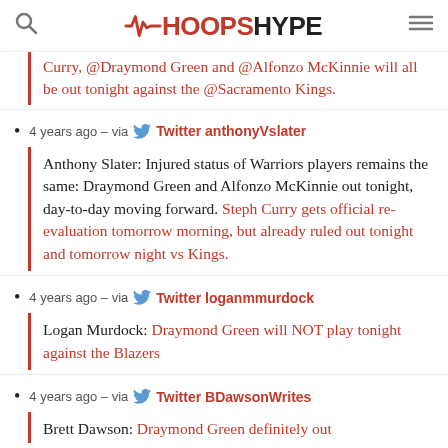HoopsHype
Curry, @Draymond Green and @Alfonzo McKinnie will all be out tonight against the @Sacramento Kings.
4 years ago – via Twitter anthonyVslater
Anthony Slater: Injured status of Warriors players remains the same: Draymond Green and Alfonzo McKinnie out tonight, day-to-day moving forward. Steph Curry gets official re-evaluation tomorrow morning, but already ruled out tonight and tomorrow night vs Kings.
4 years ago – via Twitter loganmmurdock
Logan Murdock: Draymond Green will NOT play tonight against the Blazers
4 years ago – via Twitter BDawsonWrites
Brett Dawson: Draymond Green definitely out